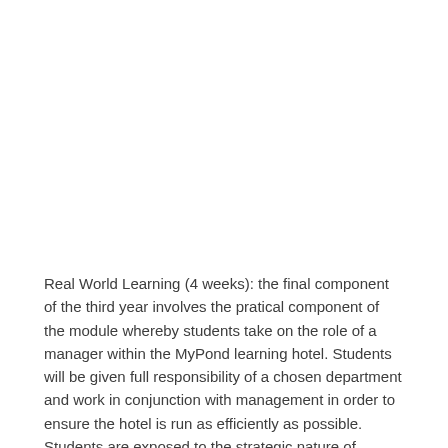Real World Learning (4 weeks): the final component of the third year involves the pratical component of the module whereby students take on the role of a manager within the MyPond learning hotel. Students will be given full responsibility of a chosen department and work in conjunction with management in order to ensure the hotel is run as efficiently as possible. Students are exposed to the strategic nature of runnning a live hotel.